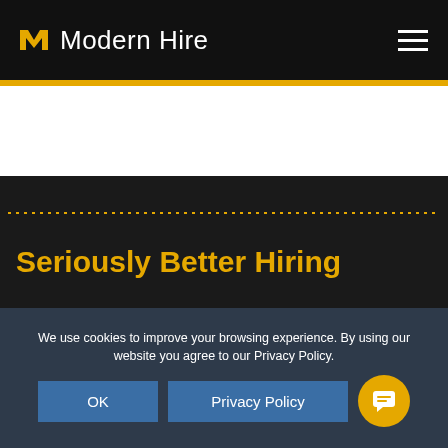Modern Hire
[Figure (logo): Modern Hire logo with yellow M icon and white text 'Modern Hire' on black background, with hamburger menu icon on the right]
Seriously Better Hiring
Modern Hire's intelligent hiring platform is rigorously designed to predict success. Discover how our advanced
We use cookies to improve your browsing experience. By using our website you agree to our Privacy Policy.